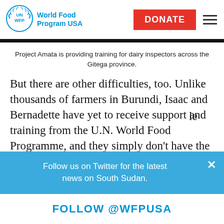[Figure (logo): UN WFP World Food Program USA logo with laurel wreath emblem and blue text]
Project Amata is providing training for dairy inspectors across the Gitega province.
But there are other difficulties, too. Unlike thousands of farmers in Burundi, Isaac and Bernadette have yet to receive support and training from the U.N. World Food Programme, and they simply don't have the
Follow us on Twitter for the latest news on South Sudan.
FOLLOW @WFPUSA
“We need to learn the